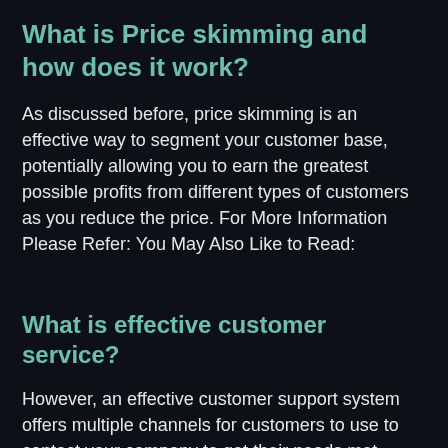What is Price skimming and how does it work?
As discussed before, price skimming is an effective way to segment your customer base, potentially allowing you to earn the greatest possible profits from different types of customers as you reduce the price. For More Information Please Refer: You May Also Like to Read:
What is effective customer service?
However, an effective customer support system offers multiple channels for customers to use to contact your company to get their needs met. Knowing your customer base